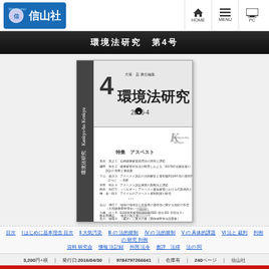信山社 | HOME | MENU | PC
環境法研究 第4号
[Figure (photo): Book cover of 環境法研究 2016.4, volume 4, showing Japanese legal research journal cover with table of contents]
各種リンクテキスト行
3,200円+税 | 発行日:2016/04/30 | 9784797266641 | 在庫有 | 240ページ | 信山社